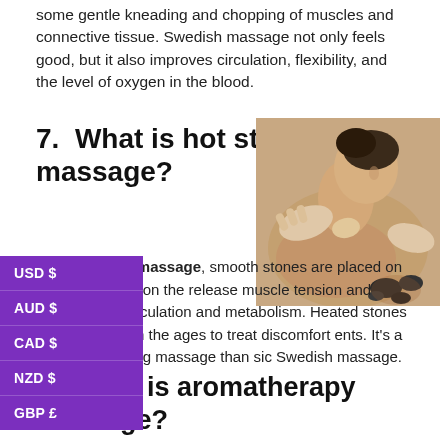some gentle kneading and chopping of muscles and connective tissue. Swedish massage not only feels good, but it also improves circulation, flexibility, and the level of oxygen in the blood.
7.  What is hot stone massage?
[Figure (photo): Person receiving a hot stone massage, with hands pressing on their back/neck area and dark stones visible.]
In a hot stone massage, smooth stones are placed on pressure points on the release muscle tension and stiffness and circulation and metabolism. Heated stones en used through the ages to treat discomfort ents. It's a more invigorating massage than sic Swedish massage.
[Figure (infographic): Currency selector overlay showing USD $, AUD $, CAD $, NZD $, GBP £ in purple boxes.]
8.  What is aromatherapy massage?